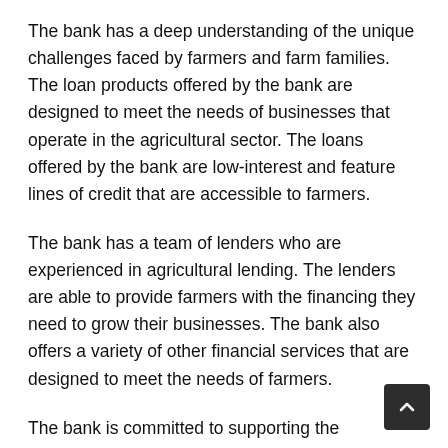The bank has a deep understanding of the unique challenges faced by farmers and farm families. The loan products offered by the bank are designed to meet the needs of businesses that operate in the agricultural sector. The loans offered by the bank are low-interest and feature lines of credit that are accessible to farmers.
The bank has a team of lenders who are experienced in agricultural lending. The lenders are able to provide farmers with the financing they need to grow their businesses. The bank also offers a variety of other financial services that are designed to meet the needs of farmers.
The bank is committed to supporting the agricultural industry in Cullman, Alabama. The bank has a long history of supporting the agricultural sector and is a leader in agricultural lending. The bank offers a variety of loan